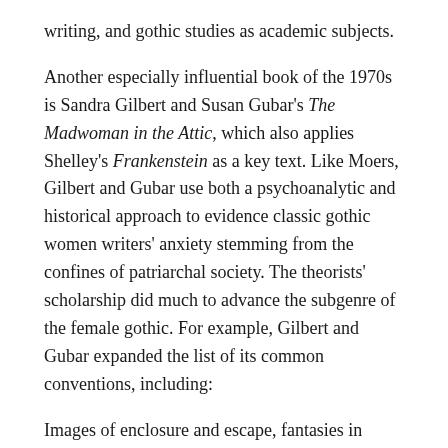writing, and gothic studies as academic subjects.
Another especially influential book of the 1970s is Sandra Gilbert and Susan Gubar's The Madwoman in the Attic, which also applies Shelley's Frankenstein as a key text. Like Moers, Gilbert and Gubar use both a psychoanalytic and historical approach to evidence classic gothic women writers' anxiety stemming from the confines of patriarchal society. The theorists' scholarship did much to advance the subgenre of the female gothic. For example, Gilbert and Gubar expanded the list of its common conventions, including:
Images of enclosure and escape, fantasies in which maddened doubles functioned as
asocial surrogates for docile selves, metaphors of physical discomfort manifested in